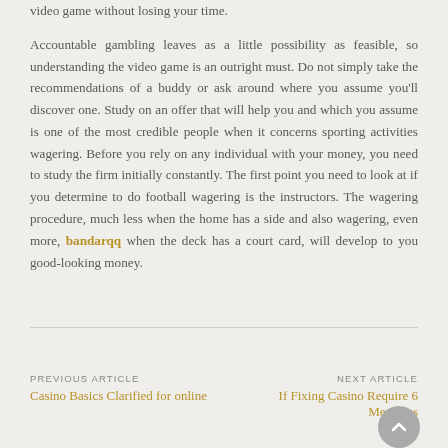video game without losing your time.
Accountable gambling leaves as a little possibility as feasible, so understanding the video game is an outright must. Do not simply take the recommendations of a buddy or ask around where you assume you'll discover one. Study on an offer that will help you and which you assume is one of the most credible people when it concerns sporting activities wagering. Before you rely on any individual with your money, you need to study the firm initially constantly. The first point you need to look at if you determine to do football wagering is the instructors. The wagering procedure, much less when the home has a side and also wagering, even more, bandarqq when the deck has a court card, will develop to you good-looking money.
PREVIOUS ARTICLE
Casino Basics Clarified for online
NEXT ARTICLE
If Fixing Casino Require 6 Measures